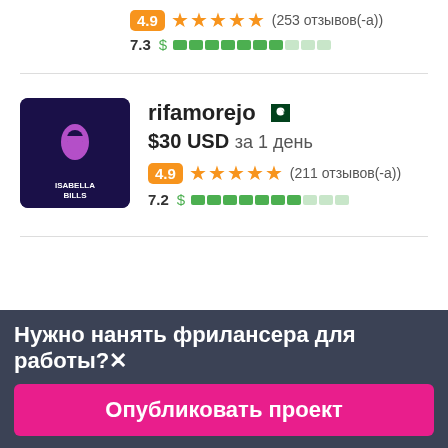4.9 ★★★★★ (253 отзывов(-а))
7.3 $ ▉▉▉▉▉▉▉▓▓▓
rifamorejo
$30 USD за 1 день
4.9 ★★★★★ (211 отзывов(-а))
7.2 $ ▉▉▉▉▉▉▉▓▓▓
Нужно нанять фрилансера для работы?✕
Опубликовать проект